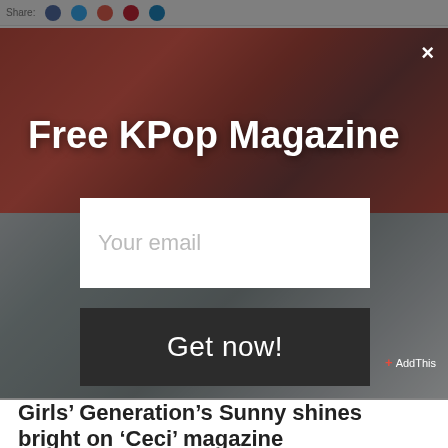Share:
[Figure (photo): KPop magazine promotional modal overlay showing K-pop group photos — top section with girls in colorful outfits against red background, text 'Free KPop Magazine', email input field, 'Get now!' button, bottom section with K-pop group in white outfits and girl group smiling]
Your email
Get now!
AddThis
Girls' Generation's Sunny shines bright on 'Ceci' magazine